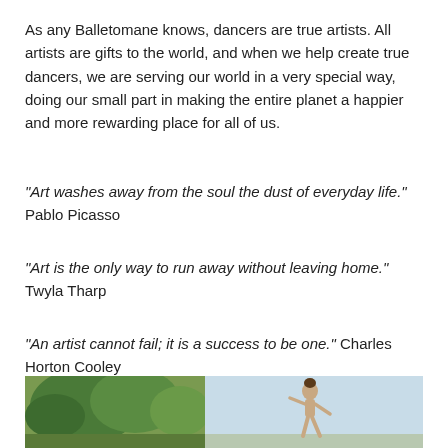As any Balletomane knows, dancers are true artists. All artists are gifts to the world, and when we help create true dancers, we are serving our world in a very special way, doing our small part in making the entire planet a happier and more rewarding place for all of us.
“Art washes away from the soul the dust of everyday life.” Pablo Picasso
“Art is the only way to run away without leaving home.” Twyla Tharp
“An artist cannot fail; it is a success to be one.” Charles Horton Cooley
[Figure (photo): Outdoor photo showing trees/greenery on the left side and a dancer figure on the right side against a light sky background]